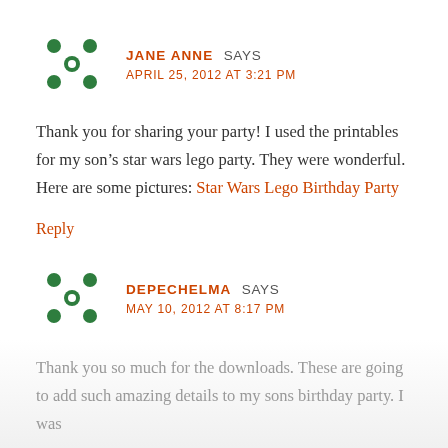[Figure (illustration): Green decorative avatar icon with cross/flower pattern]
JANE ANNE SAYS
APRIL 25, 2012 AT 3:21 PM
Thank you for sharing your party! I used the printables for my son’s star wars lego party. They were wonderful. Here are some pictures: Star Wars Lego Birthday Party
Reply
[Figure (illustration): Green decorative avatar icon with cross/flower pattern]
DEPECHELMA SAYS
MAY 10, 2012 AT 8:17 PM
Thank you so much for the downloads. These are going to add such amazing details to my sons birthday party. I was